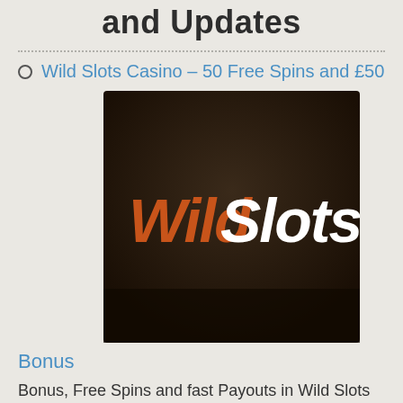and Updates
Wild Slots Casino – 50 Free Spins and £50
[Figure (logo): Wild Slots Casino logo — dark background with orange and white 'WildSlots' text in stylized italic font]
Bonus
Bonus, Free Spins and fast Payouts in Wild Slots Casino A top recommendation for enthusiastic slots players is the Wild Slots Casino. It impresses with a large and high quality selection of games, good bonus offers and above all with very fast payouts. The online slots coming from great manufacturers like Netent, Microgaming, Betsoft, Quickspin,